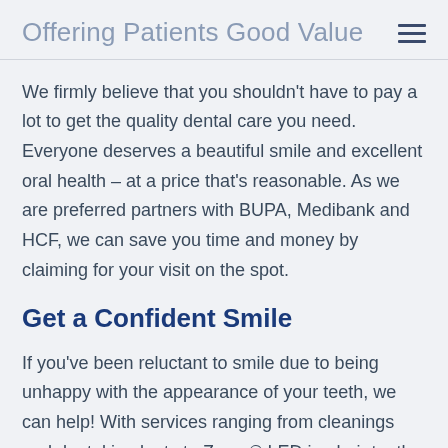Offering Patients Good Value
We firmly believe that you shouldn't have to pay a lot to get the quality dental care you need. Everyone deserves a beautiful smile and excellent oral health – at a price that's reasonable. As we are preferred partners with BUPA, Medibank and HCF, we can save you time and money by claiming for your visit on the spot.
Get a Confident Smile
If you've been reluctant to smile due to being unhappy with the appearance of your teeth, we can help! With services ranging from cleanings and dental implants to Zoom® LED in-chair teeth whitening and Invisalign®, we'll work to give you a smile that exudes confidence. We also offer